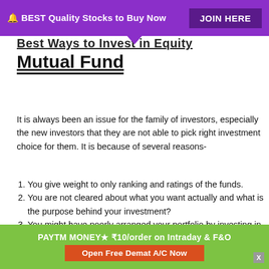🔔 BEST Quality Stocks to Buy Now  JOIN HERE
Best Ways to Invest in Equity Mutual Fund
It is always been an issue for the family of investors, especially the new investors that they are not able to pick right investment choice for them. It is because of several reasons-
You give weight to only ranking and ratings of the funds.
You are not cleared about what you want actually and what is the purpose behind your investment?
You might have poorly arranged your portfolio by investing in un-necessary schemes.
PAYTM MONEY★ ₹10/order on Intraday & F&O  Open Free Demat A/C Now